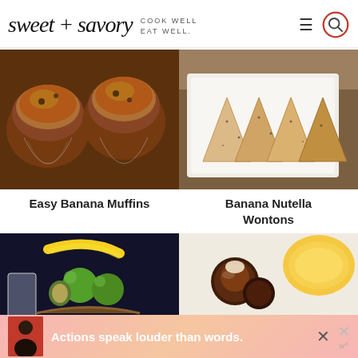sweet + savory — COOK WELL EAT WELL
[Figure (photo): Close-up photo of baked banana muffins in paper liners, golden brown tops]
Easy Banana Muffins
[Figure (photo): Banana Nutella wontons arranged on a white plate, triangular shaped, dusted with sugar]
Banana Nutella Wontons
[Figure (photo): Fruit basket with bananas, kiwi, and green apples on dark background with a glass]
[Figure (photo): Dessert plate with chocolate covered items and banana slices]
Actions speak louder than words.